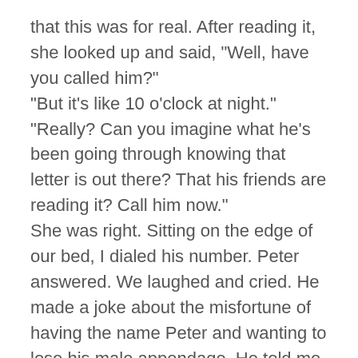that this was for real. After reading it, she looked up and said, "Well, have you called him?"
"But it's like 10 o'clock at night."
"Really? Can you imagine what he's been going through knowing that letter is out there? That his friends are reading it? Call him now."
She was right. Sitting on the edge of our bed, I dialed his number. Peter answered. We laughed and cried. He made a joke about the misfortune of having the name Peter and wanting to lose his male appendage. He told me I was one of the first to call. We laughed some more.
Peter informed me that he had to live as a woman for a year before a surgeon would do the operation. We talked often